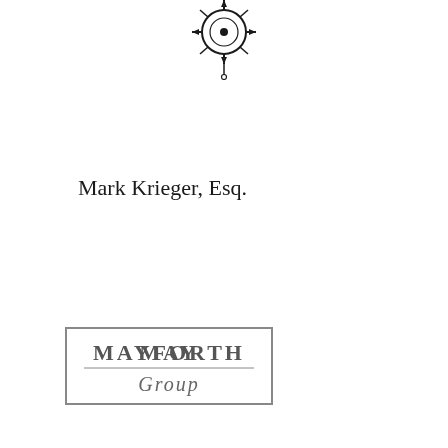[Figure (logo): Decorative emblem or seal logo at top center of page, black line art, appears to be a circular compass or ship wheel style ornament]
Mark Krieger, Esq.
[Figure (logo): Mayforth Group logo — rectangular border with serif uppercase text MAYFORTH and script lowercase text Group, gray tones]